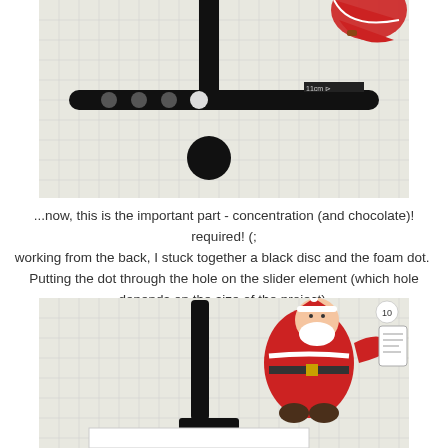[Figure (photo): Photo of a black T-shaped slider mechanism with circular holes and a black disc/dot on a grid cutting mat, with a Santa Claus figure partially visible at top right.]
...now, this is the important part - concentration (and chocolate)! required! (;
working from the back, I stuck together a black disc and the foam dot.  Putting the dot through the hole on the slider element (which hole depends on the size of the project).
[Figure (photo): Photo of a Santa Claus figure holding a list, positioned next to a black vertical slider element on a grid cutting mat, with a white piece of paper at the bottom.]